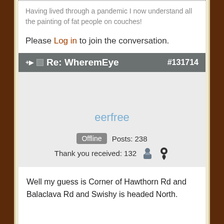Having lived through a pandemic I now understand all the painting of fat people on couches!
Please Log in to join the conversation.
Re: WheremEye #131714
eerfree
Offline  Posts: 238  Thank you received: 132
Well my guess is Corner of Hawthorn Rd and Balaclava Rd and Swishy is headed North.